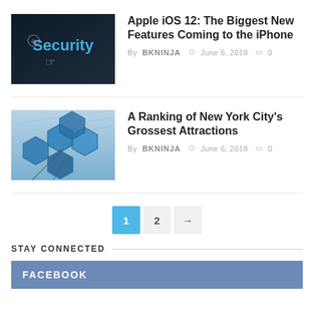[Figure (photo): Dark screen showing 'Security' text with a hand cursor icon]
Apple iOS 12: The Biggest New Features Coming to the iPhone
By BKNINJA  June 6, 2018  0
[Figure (photo): Large blue hexagonal mirror panels of a space telescope structure indoors]
A Ranking of New York City's Grossest Attractions
By BKNINJA  June 6, 2018  0
1  2  →
STAY CONNECTED
FACEBOOK